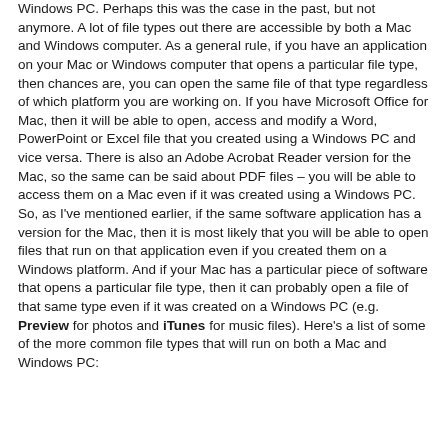Windows PC. Perhaps this was the case in the past, but not anymore. A lot of file types out there are accessible by both a Mac and Windows computer. As a general rule, if you have an application on your Mac or Windows computer that opens a particular file type, then chances are, you can open the same file of that type regardless of which platform you are working on. If you have Microsoft Office for Mac, then it will be able to open, access and modify a Word, PowerPoint or Excel file that you created using a Windows PC and vice versa. There is also an Adobe Acrobat Reader version for the Mac, so the same can be said about PDF files – you will be able to access them on a Mac even if it was created using a Windows PC. So, as I've mentioned earlier, if the same software application has a version for the Mac, then it is most likely that you will be able to open files that run on that application even if you created them on a Windows platform. And if your Mac has a particular piece of software that opens a particular file type, then it can probably open a file of that same type even if it was created on a Windows PC (e.g. Preview for photos and iTunes for music files). Here's a list of some of the more common file types that will run on both a Mac and Windows PC: